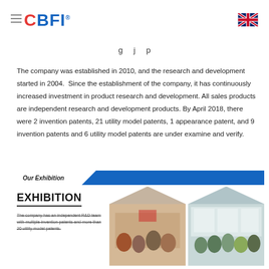CBFI® [hamburger menu] [UK flag]
The company was established in 2010, and the research and development started in 2004. Since the establishment of the company, it has continuously increased investment in product research and development. All sales products are independent research and development products. By April 2018, there were 2 invention patents, 21 utility model patents, 1 appearance patent, and 9 invention patents and 6 utility model patents are under examine and verify.
Our Exhibition
[Figure (photo): Exhibition section showing CBFI logo text 'EXHIBITION' with subtitle about independent R&D team, alongside two house-shaped photo frames showing groups of people at a trade exhibition.]